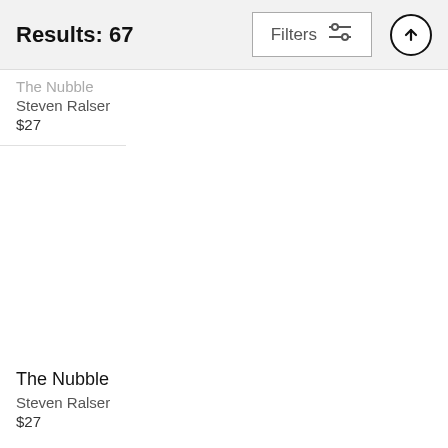Results: 67
The Nubble
Steven Ralser
$27
The Nubble
Steven Ralser
$27